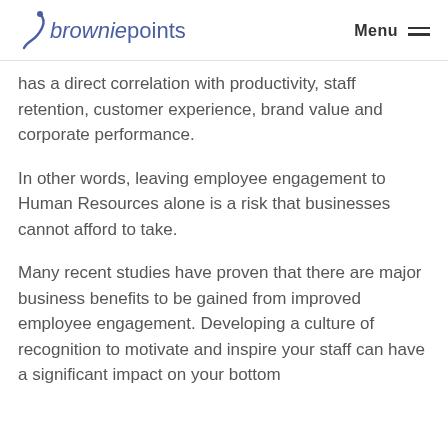browniepoints  Menu
has a direct correlation with productivity, staff retention, customer experience, brand value and corporate performance.
In other words, leaving employee engagement to Human Resources alone is a risk that businesses cannot afford to take.
Many recent studies have proven that there are major business benefits to be gained from improved employee engagement. Developing a culture of recognition to motivate and inspire your staff can have a significant impact on your bottom